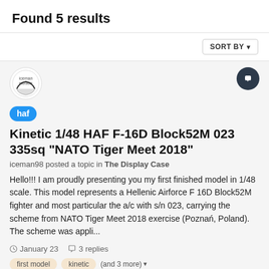Found 5 results
SORT BY
[Figure (photo): User avatar for iceman98 (iceman models) - circular avatar with stylized logo]
[Figure (illustration): Dark circular chat/message icon button]
haf  Kinetic 1/48 HAF F-16D Block52M 023 335sq "NATO Tiger Meet 2018"
iceman98 posted a topic in The Display Case
Hello!!! I am proudly presenting you my first finished model in 1/48 scale. This model represents a Hellenic Airforce F 16D Block52M fighter and most particular the a/c with s/n 023, carrying the scheme from NATO Tiger Meet 2018 exercise (Poznań, Poland). The scheme was appli...
January 23   3 replies
first model
kinetic
(and 3 more)